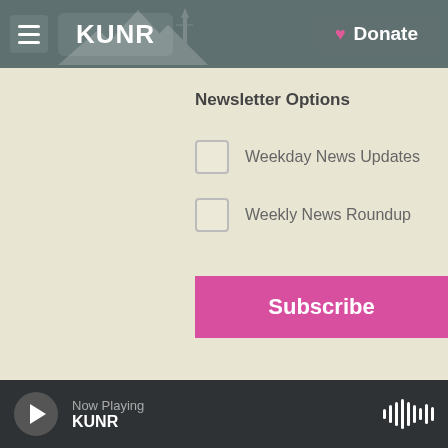KUNR | Donate
Newsletter Options
Weekday News Updates
Weekly News Roundup
Subscribe
Novel Coronavirus In Nevada: Friday, October 23, 2020
Now Playing KUNR